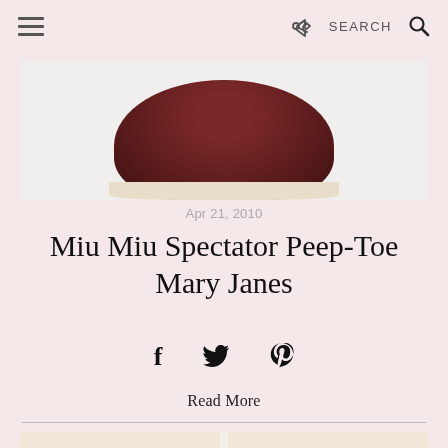Menu | Share | SEARCH
[Figure (photo): Close-up of a dark burgundy/maroon shoe sole viewed from above against a white background]
Apr 21, 2010
Miu Miu Spectator Peep-Toe Mary Janes
Social share icons: Facebook, Twitter, Pinterest
Read More
[Figure (photo): Two pairs of Mary Jane shoes, one in red gingham pattern on the left and one in black and white gingham pattern on the right]